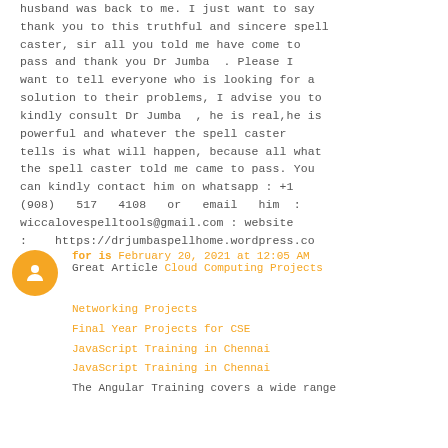husband was back to me. I just want to say thank you to this truthful and sincere spell caster, sir all you told me have come to pass and thank you Dr Jumba . Please I want to tell everyone who is looking for a solution to their problems, I advise you to kindly consult Dr Jumba , he is real,he is powerful and whatever the spell caster tells is what will happen, because all what the spell caster told me came to pass. You can kindly contact him on whatsapp : +1 (908) 517 4108 or email him : wiccalovespelltools@gmail.com : website : https://drjumbaspellhome.wordpress.com/
for is February 20, 2021 at 12:05 AM
Great Article Cloud Computing Projects
Networking Projects
Final Year Projects for CSE
JavaScript Training in Chennai
JavaScript Training in Chennai
The Angular Training covers a wide range